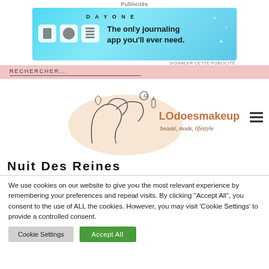Publicités
[Figure (illustration): Day One journaling app advertisement banner with blue background, app icons, and text 'The only journaling app you'll ever need.']
SIGNALER CETTE PUBLICITÉ
RECHERCHER...
[Figure (logo): LOdoesmakeup logo with line art illustration of a figure with flowers, rose-gold text 'LOdoesmakeup' and script 'beauté, mode, lifestyle']
Nuit Des Reines
We use cookies on our website to give you the most relevant experience by remembering your preferences and repeat visits. By clicking "Accept All", you consent to the use of ALL the cookies. However, you may visit 'Cookie Settings' to provide a controlled consent.